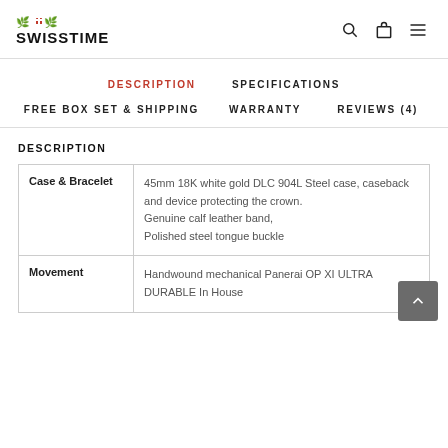SWISSTIME
DESCRIPTION | SPECIFICATIONS | FREE BOX SET & SHIPPING | WARRANTY | REVIEWS (4)
DESCRIPTION
|  |  |
| --- | --- |
| Case & Bracelet | 45mm 18K white gold DLC 904L Steel case, caseback and device protecting the crown.
Genuine calf leather band, Polished steel tongue buckle |
| Movement | Handwound mechanical Panerai OP XI ULTRA DURABLE In House |